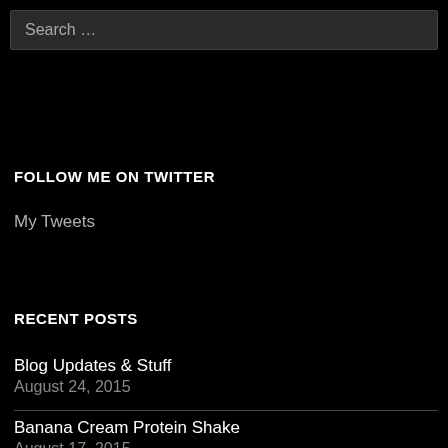Search …
FOLLOW ME ON TWITTER
My Tweets
RECENT POSTS
Blog Updates & Stuff
August 24, 2015
Banana Cream Protein Shake
August 17, 2015
The Edinburgh Foodie Festival
August 10, 2015